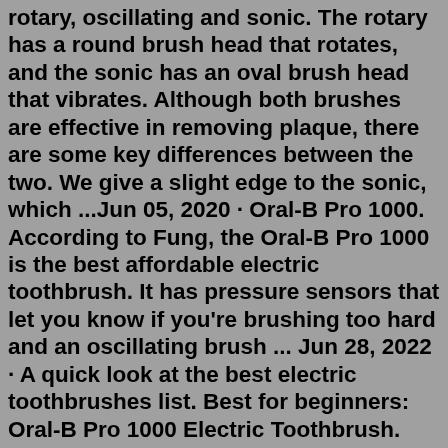rotary, oscillating and sonic. The rotary has a round brush head that rotates, and the sonic has an oval brush head that vibrates. Although both brushes are effective in removing plaque, there are some key differences between the two. We give a slight edge to the sonic, which ...Jun 05, 2020 · Oral-B Pro 1000. According to Fung, the Oral-B Pro 1000 is the best affordable electric toothbrush. It has pressure sensors that let you know if you're brushing too hard and an oscillating brush ... Jun 28, 2022 · A quick look at the best electric toothbrushes list. Best for beginners: Oral-B Pro 1000 Electric Toothbrush. Most brush heads: Philips Sonicare ProtectiveClean 4100. Best budget: Arm & Hammer ... All you need is access to a toothbrush and water. SleepTight Mouthpiece is a good quality product. The manufacturer says it may last for up to two years and should last for six months at the very least. Like your teeth, MADs are put under a lot of pressure so even a year is a longer than normal life expectancy.Using the brush as much as a regular toothbrush is probably sufficient for our